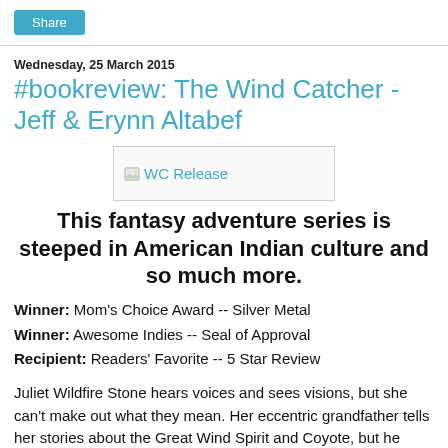[Figure (other): Share button UI element]
Wednesday, 25 March 2015
#bookreview: The Wind Catcher - Jeff & Erynn Altabef
[Figure (other): Broken image placeholder labeled 'WC Release']
This fantasy adventure series is steeped in American Indian culture and so much more.
Winner: Mom's Choice Award -- Silver Metal
Winner: Awesome Indies -- Seal of Approval
Recipient: Readers' Favorite -- 5 Star Review
Juliet Wildfire Stone hears voices and sees visions, but she can't make out what they mean. Her eccentric grandfather tells her stories about the Great Wind Spirit and Coyote, but he might as well be speaking another language. None of it